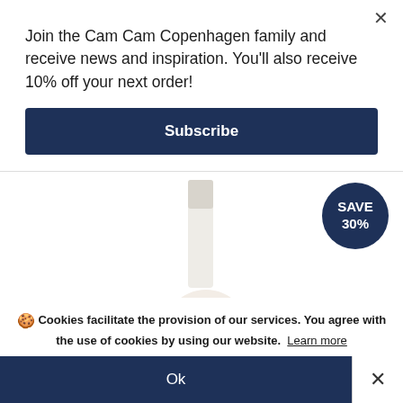Join the Cam Cam Copenhagen family and receive news and inspiration. You'll also receive 10% off your next order!
Subscribe
[Figure (photo): Product photo of a decorative baby/children's mobile or bath toy with floral bunny pattern and a white handle/hook, shown against white background. A dark navy circular badge with 'SAVE 30%' is overlaid in the top right.]
🍪 Cookies facilitate the provision of our services. You agree with the use of cookies by using our website. Learn more
Ok